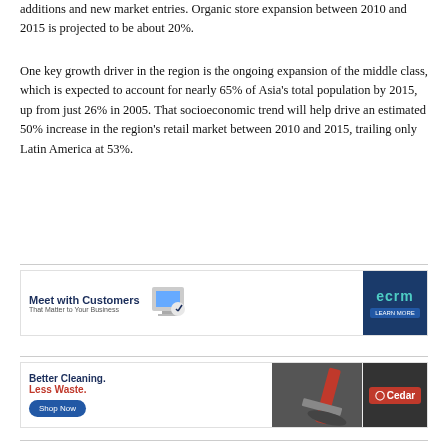additions and new market entries. Organic store expansion between 2010 and 2015 is projected to be about 20%.
One key growth driver in the region is the ongoing expansion of the middle class, which is expected to account for nearly 65% of Asia’s total population by 2015, up from just 26% in 2005. That socioeconomic trend will help drive an estimated 50% increase in the region’s retail market between 2010 and 2015, trailing only Latin America at 53%.
[Figure (other): ECRM advertisement banner: Meet with Customers That Matter to Your Business. Shows a hand touching a tablet screen. Navy blue right panel with ECRM logo and LEARN MORE button.]
[Figure (other): Cedar advertisement banner: Better Cleaning. Less Waste. Shop Now button. Photo of a red mop or cleaning tool. Cedar logo on dark background.]